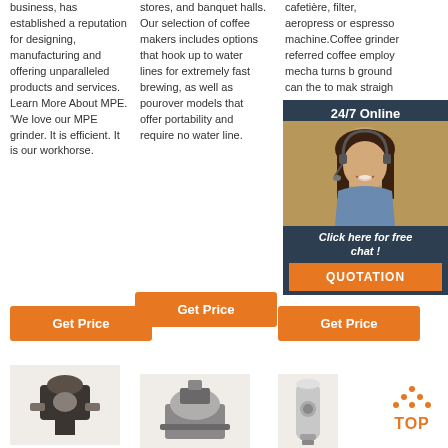business, has established a reputation for designing, manufacturing and offering unparalleled products and services. Learn More About MPE. 'We love our MPE grinder. It is efficient. It is our workhorse.
stores, and banquet halls. Our selection of coffee makers includes options that hook up to water lines for extremely fast brewing, as well as pourover models that offer portability and require no water line.
cafetière, filter, aeropress or espresso machine.Coffee grinder referred coffee employ mecha turns b ground can the to mak straigh
[Figure (infographic): 24/7 Online chat popup with woman wearing headset, Click here for free chat link, and QUOTATION orange button]
Get Price
Get Price
Get Price
[Figure (illustration): TOP button with orange dots arranged in triangle above orange TOp text]
[Figure (photo): Coffee roasting machine, dark industrial equipment]
[Figure (photo): Coffee grinding machine, silver/grey industrial equipment]
[Figure (photo): Tall cylindrical coffee machine, chrome/silver]